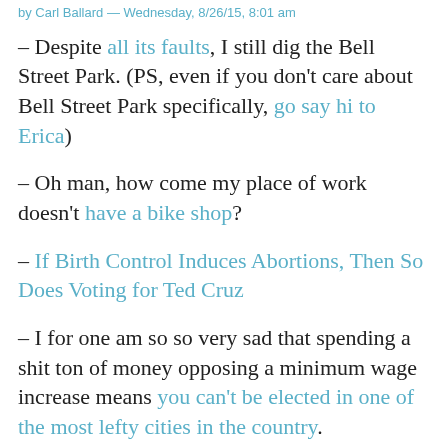by Carl Ballard — Wednesday, 8/26/15, 8:01 am
– Despite all its faults, I still dig the Bell Street Park. (PS, even if you don't care about Bell Street Park specifically, go say hi to Erica)
– Oh man, how come my place of work doesn't have a bike shop?
– If Birth Control Induces Abortions, Then So Does Voting for Ted Cruz
– I for one am so so very sad that spending a shit ton of money opposing a minimum wage increase means you can't be elected in one of the most lefty cities in the country.